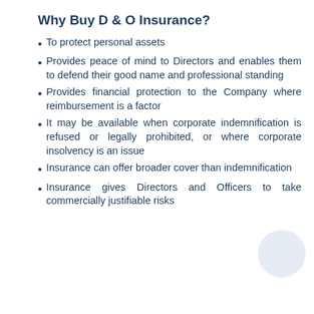Why Buy D & O Insurance?
To protect personal assets
Provides peace of mind to Directors and enables them to defend their good name and professional standing
Provides financial protection to the Company where reimbursement is a factor
It may be available when corporate indemnification is refused or legally prohibited, or where corporate insolvency is an issue
Insurance can offer broader cover than indemnification
Insurance gives Directors and Officers to take commercially justifiable risks